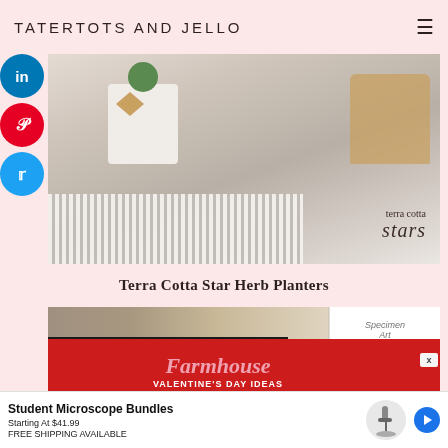TATERTOTS AND JELLO
[Figure (photo): Terra cotta star herb planters in baskets with striped cloth, labeled 'terra cotta stars']
Terra Cotta Star Herb Planters
[Figure (photo): Blog post thumbnail showing '17 Farmhouse Valentine's Day Ideas' with red background, and specimen art visible in corner]
[Figure (infographic): Advertisement banner: Student Microscope Bundles, Starting At $41.99, FREE SHIPPING AVAILABLE]